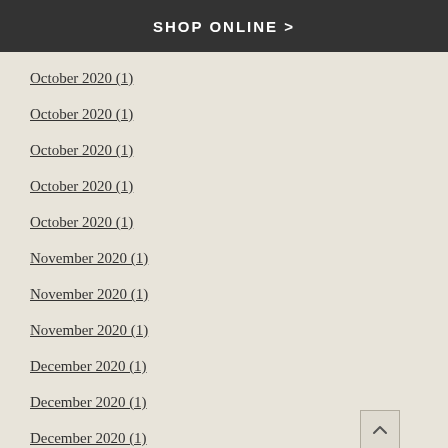SHOP ONLINE >
October 2020 (1)
October 2020 (1)
October 2020 (1)
October 2020 (1)
October 2020 (1)
November 2020 (1)
November 2020 (1)
November 2020 (1)
December 2020 (1)
December 2020 (1)
December 2020 (1)
December 2020 (1)